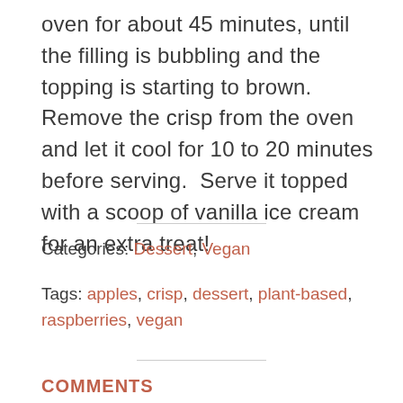oven for about 45 minutes, until the filling is bubbling and the topping is starting to brown.  Remove the crisp from the oven and let it cool for 10 to 20 minutes before serving.  Serve it topped with a scoop of vanilla ice cream for an extra treat!
Categories: Dessert, Vegan
Tags: apples, crisp, dessert, plant-based, raspberries, vegan
COMMENTS